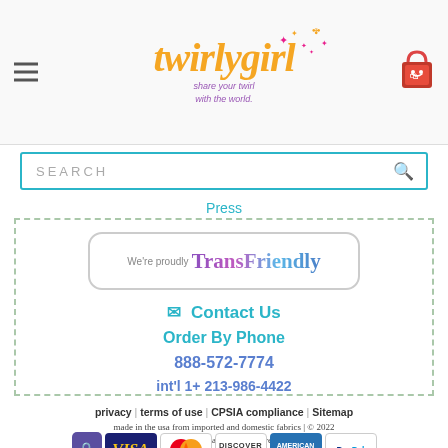[Figure (logo): TwirlyGirl logo with orange script text 'twirly girl', pink stars decoration, tagline 'share your twirl with the world.' in purple italic, and hamburger menu icon on left, shopping bag icon on right]
SEARCH
Press
[Figure (logo): We're proudly TransFriendly badge in rounded rectangle border with purple gradient text]
✉ Contact Us
Order By Phone
888-572-7774
int'l 1+ 213-986-4422
privacy | terms of use | CPSIA compliance | Sitemap
made in the usa from imported and domestic fabrics | © 2022 TwirlyGirl all rights reserved
This is our showroom, not a store. Appointment only. | 117 W. 9th St. Suite 715 Los Angeles, CA 90015
[Figure (other): Payment icons row: lock icon, VISA, MasterCard, Discover, American Express, PayPal]